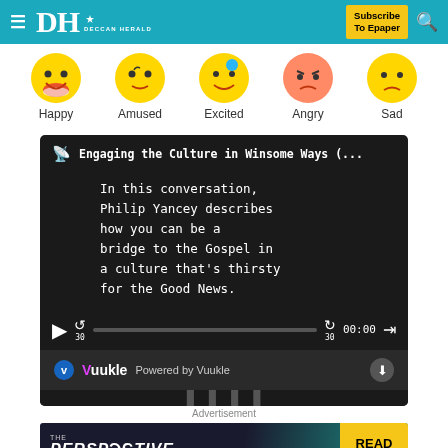DH DECCAN HERALD | Subscribe To Epaper
[Figure (illustration): Row of five emoji faces: Happy, Amused, Excited, Angry, Sad]
[Figure (screenshot): Audio player widget showing podcast episode 'Engaging the Culture in Winsome Ways (...)' with text: 'In this conversation, Philip Yancey describes how you can be a bridge to the Gospel in a culture that’s thirsty for the Good News.' Controls show play button, skip 30s back, progress bar, skip 30s forward, time 00:00, and speed button. Powered by Vuukle.]
Advertisement
[Figure (infographic): Banner advertisement: THE PERSPECTIVE - SEE WHAT YOU'RE MISSING | READ MORE]